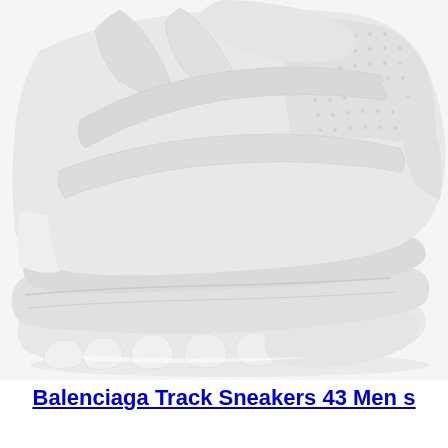[Figure (photo): Close-up photograph of a white Balenciaga Track sneaker, showing the chunky multi-layered sole and upper portion of the shoe against a white background.]
Balenciaga Track Sneakers 43 Men s